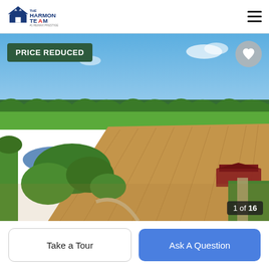[Figure (logo): The Harmon Team #1 RE/MAX Prestige logo with house icon]
[Figure (photo): Aerial drone photo of a large farm with plowed fields, two ponds, tree lines, a barn structure on the right, and flat rural landscape stretching to the horizon under a blue sky]
PRICE REDUCED
1 of 16
Take a Tour
Ask A Question